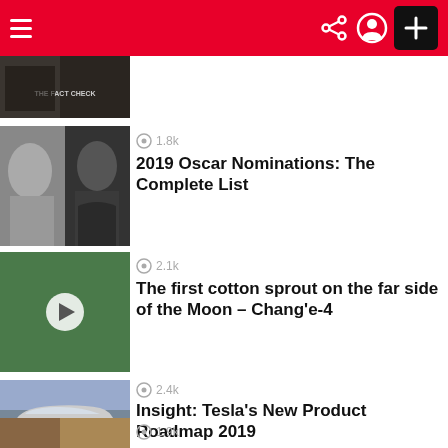Navigation bar with hamburger menu, share, user, and plus icons
[Figure (screenshot): Partial article thumbnail showing 'THE FACT CHECK']
1.8k
2019 Oscar Nominations: The Complete List
2.1k
The first cotton sprout on the far side of the Moon – Chang'e-4
2.4k
Insight: Tesla's New Product Roadmap 2019
1.9k